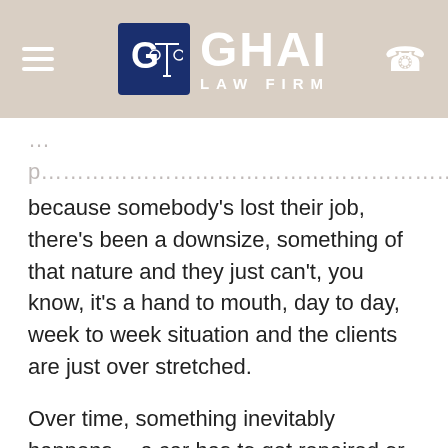GHAI LAW FIRM
because somebody's lost their job, there's been a downsize, something of that nature and they just can't, you know, it's a hand to mouth, day to day, week to week situation and the clients are just over stretched.
Over time, something inevitably happens… a car has to get repaired or something like that. The money is not there. So what happens? They are not able to make their Chapter 13 payments and pretty soon the Chapter 13 bankruptcy trustees office is filing a motion because the